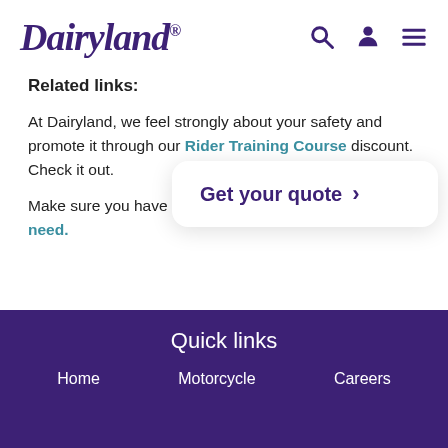[Figure (logo): Dairyland logo in purple italic script with registered trademark symbol]
Related links:
At Dairyland, we feel strongly about your safety and promote it through our Rider Training Course discount. Check it out.
Make sure you have the motorcycle coverages you need.
[Figure (other): Get your quote call-to-action button with chevron arrow]
Quick links
Home
Motorcycle
Careers